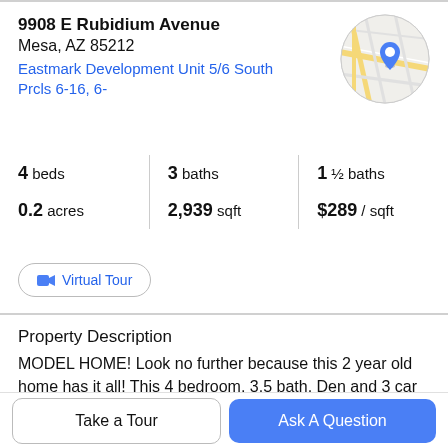9908 E Rubidium Avenue
Mesa, AZ 85212
Eastmark Development Unit 5/6 South Prcls 6-16, 6-
[Figure (map): Circular map thumbnail showing street map with blue location pin]
| 4 beds | 3 baths | 1 ½ baths |
| 0.2 acres | 2,939 sqft | $289 / sqft |
Virtual Tour
Property Description
MODEL HOME! Look no further because this 2 year old home has it all! This 4 bedroom, 3.5 bath, Den and 3 car tandem garage home has been meticulously cared for.
You are first greeted by a custom iron entry gate. As you
Take a Tour
Ask A Question